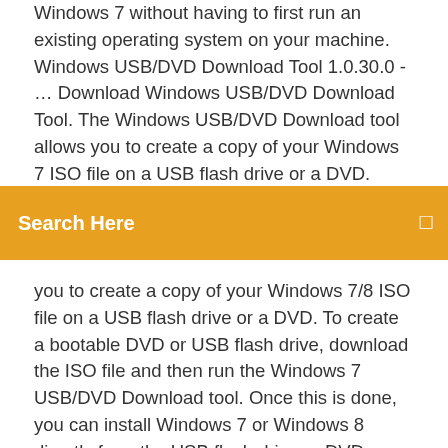Windows 7 without having to first run an existing operating system on your machine. Windows USB/DVD Download Tool 1.0.30.0 - … Download Windows USB/DVD Download Tool. The Windows USB/DVD Download tool allows you to create a copy of your Windows 7 ISO file on a USB flash drive or a DVD. balenaEtcher - Flash OS images to SD cards & USB
[Figure (screenshot): Orange search bar with white text 'Search Here' and a small icon on the right]
you to create a copy of your Windows 7/8 ISO file on a USB flash drive or a DVD. To create a bootable DVD or USB flash drive, download the ISO file and then run the Windows 7 USB/DVD Download tool. Once this is done, you can install Windows 7 or Windows 8 directly from the USB flash drive or DVD. Windows 7 USB/DVD Download Tool - Page 2 - … 16/11/2009 · The Windows USB/DVD Tool was pulled "because there were several concerns brought to Microsoft's attention," a Microsoft spokesman said in an email. "They took it down to investigate the claims." As the name suggests, the tool allows